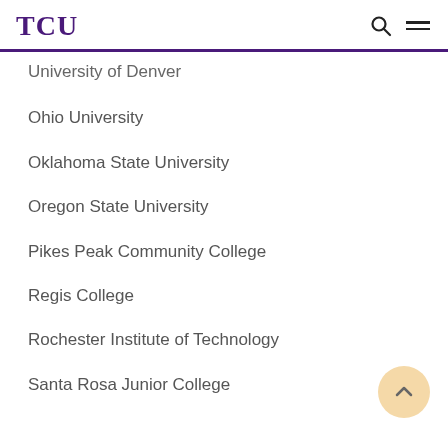TCU
University of Denver
Ohio University
Oklahoma State University
Oregon State University
Pikes Peak Community College
Regis College
Rochester Institute of Technology
Santa Rosa Junior College